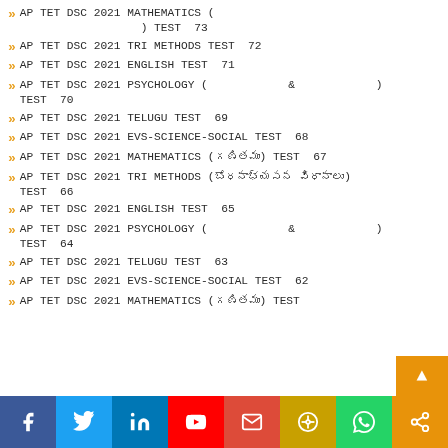AP TET DSC 2021 MATHEMATICS (   ) TEST  73
AP TET DSC 2021 TRI METHODS TEST  72
AP TET DSC 2021 ENGLISH TEST  71
AP TET DSC 2021 PSYCHOLOGY (          &           ) TEST  70
AP TET DSC 2021 TELUGU TEST  69
AP TET DSC 2021 EVS-SCIENCE-SOCIAL TEST  68
AP TET DSC 2021 MATHEMATICS (గణితము) TEST  67
AP TET DSC 2021 TRI METHODS (బోధనాభ్యసన విధానాలు) TEST  66
AP TET DSC 2021 ENGLISH TEST  65
AP TET DSC 2021 PSYCHOLOGY (          &           ) TEST  64
AP TET DSC 2021 TELUGU TEST  63
AP TET DSC 2021 EVS-SCIENCE-SOCIAL TEST  62
AP TET DSC 2021 MATHEMATICS (గణితము) TEST  61